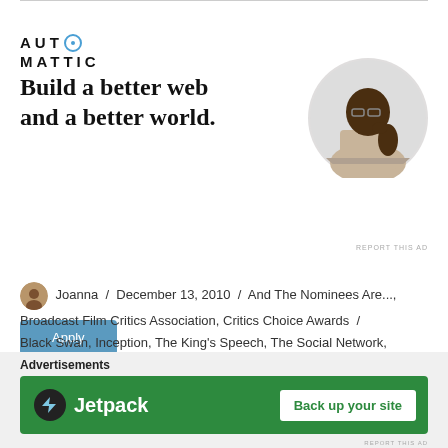[Figure (logo): Automattic logo with stylized O]
Build a better web and a better world.
[Figure (photo): Man sitting at desk looking upward thoughtfully, circular crop]
Apply
REPORT THIS AD
Joanna / December 13, 2010 / And The Nominees Are..., Broadcast Film Critics Association, Critics Choice Awards / Black Swan, Inception, The King's Speech, The Social Network, True Grit / Leave a comment
Advertisements
[Figure (infographic): Jetpack advertisement banner with green background. Shows Jetpack logo and 'Back up your site' button.]
REPORT THIS AD